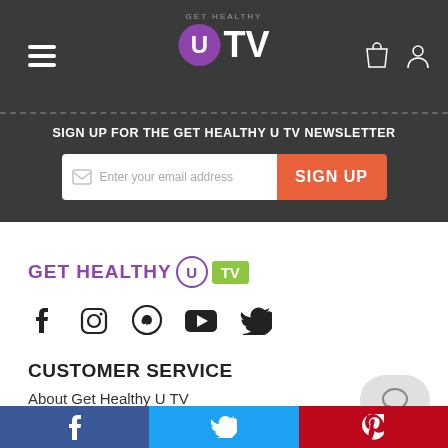[Figure (logo): Get Healthy U TV navigation bar logo with hamburger menu, shopping bag and user icons]
SIGN UP FOR THE GET HEALTHY U TV NEWSLETTER
[Figure (screenshot): Email signup form with email input field and orange SIGN UP button]
[Figure (logo): Get Healthy U TV brand logo in purple and green]
[Figure (infographic): Social media icons: Facebook, Instagram, Pinterest, YouTube, Twitter]
CUSTOMER SERVICE
About Get Healthy U TV
Testimonials
Facebook | Twitter | Pinterest share bar